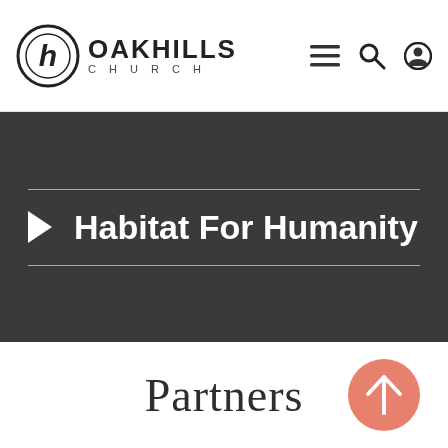[Figure (logo): Oak Hills Church logo with circular H emblem and text OAK HILLS CHURCH]
[Figure (infographic): Navigation icons: hamburger menu, search magnifier, user account circle]
▶ Habitat For Humanity
Partners